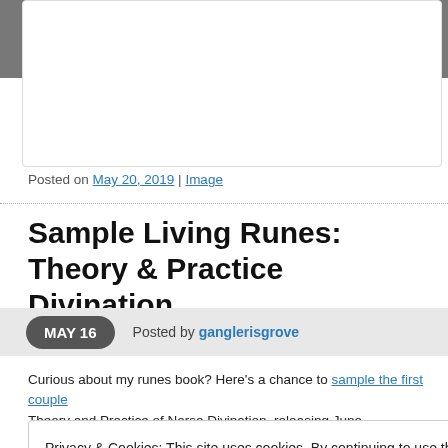[Figure (screenshot): Top portion of a webpage showing a dark background image with yellow-green text '- First time?']
Posted on May 20, 2019 | Image
Sample Living Runes: Theory & Practice of Norse Divination
MAY 16   Posted by ganglerisgrove
Curious about my runes book? Here's a chance to sample the first couple ... Theory and Practice of Norse Divination, releasing June...
Privacy & Cookies: This site uses cookies. By continuing to use this website, you agree to their use.
To find out more, including how to control cookies, see here: Cookie Policy
Close and accept